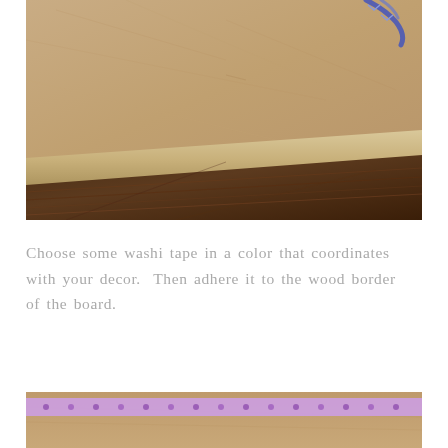[Figure (photo): Close-up photo of the bottom edge of a corkboard with a light wood frame resting on a dark wood floor. A blue chevron ribbon or cord is visible at the top of the frame.]
Choose some washi tape in a color that coordinates with your decor.  Then adhere it to the wood border of the board.
[Figure (photo): Close-up photo showing the bottom portion of a corkboard with purple floral washi tape applied along the wood border, resting on a surface.]